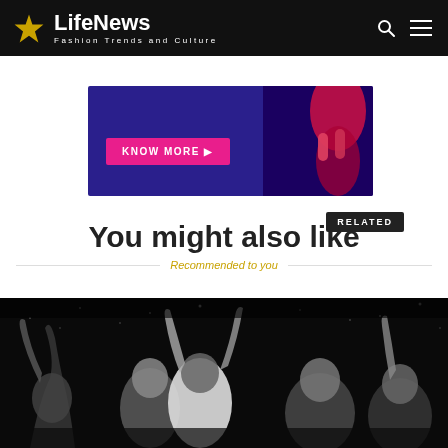LifeNews — Fashion Trends and Culture
[Figure (screenshot): Advertisement banner with 'KNOW MORE ▶' button on dark blue background with a person wearing red in background]
You might also like
Recommended to you
[Figure (photo): Black and white photo of young people at a concert or party, arms raised, viewed from below]